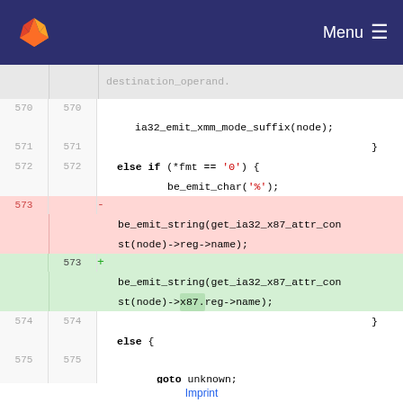GitLab — Menu
destination_operand;
570  570     ia32_emit_xmm_mode_suffix(node);
571  571                                    }
572  572     else if (*fmt == '0') {
572  572             be_emit_char('%');
573   -  be_emit_string(get_ia32_x87_attr_const(node)->reg->name);  (deleted)
573  +  be_emit_string(get_ia32_x87_attr_const(node)->x87.reg->name);  (added)
574  574                                    }
574  574     else {
575  575     goto unknown;
Imprint